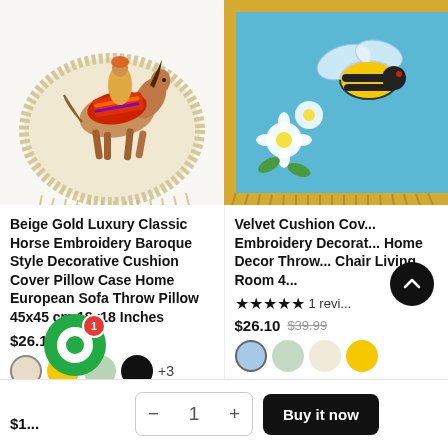[Figure (photo): Beige decorative pillow with horse embroidery and fringe border, partially cropped at top]
[Figure (photo): Blue velvet cushion cover with bee/floral embroidery and gold fringe border, partially cropped at top right]
Beige Gold Luxury Classic Horse Embroidery Baroque Style Decorative Cushion Cover Pillow Case Home European Sofa Throw Pillow 45x45 cm 18x18 Inches
$26.10  $46.00
Velvet Cushion Cov... Embroidery Decorat... Home Decor Throw... Chair Living Room 4...
★★★★★ 1 revi...
$26.10  $39.99
+3
−   1   +
Buy it now